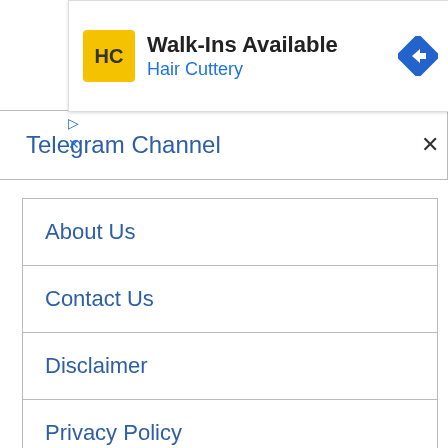[Figure (other): Hair Cuttery advertisement banner with logo, 'Walk-Ins Available' text, and navigation arrow icon]
Telegram Channel
About Us
Contact Us
Disclaimer
Privacy Policy